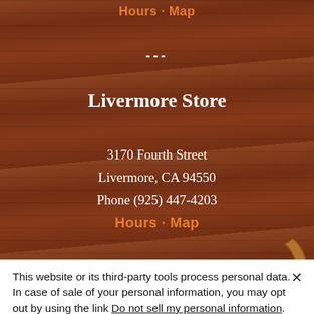Hours · Map
---
Livermore Store
3170 Fourth Street
Livermore, CA 94550
Phone (925) 447-4203
Hours · Map
Shop   Birds   Horse and Livestock   Ranch
This website or its third-party tools process personal data.
In case of sale of your personal information, you may opt out by using the link Do not sell my personal information.